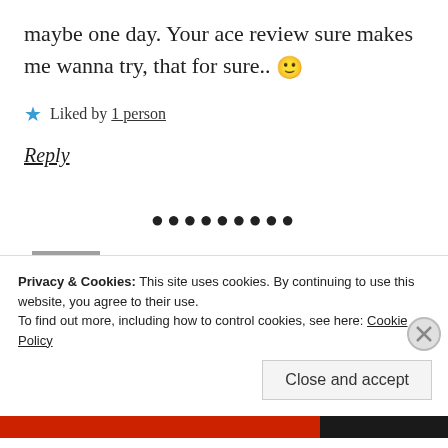maybe one day. Your ace review sure makes me wanna try, that for sure.. 🙂
★ Liked by 1 person
Reply
••••••••
[Figure (photo): Small avatar photo of a person with gray hair]
selizabryangmailcom
Privacy & Cookies: This site uses cookies. By continuing to use this website, you agree to their use. To find out more, including how to control cookies, see here: Cookie Policy
Close and accept